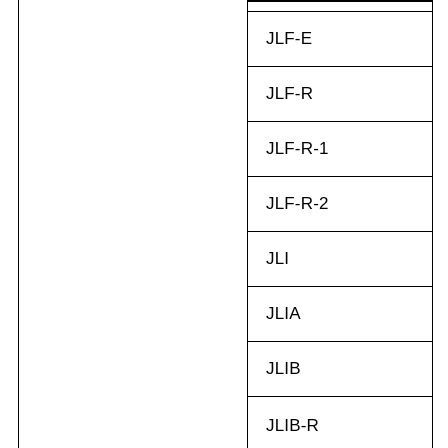| JLF-E |
| JLF-R |
| JLF-R-1 |
| JLF-R-2 |
| JLI |
| JLIA |
| JLIB |
| JLIB-R |